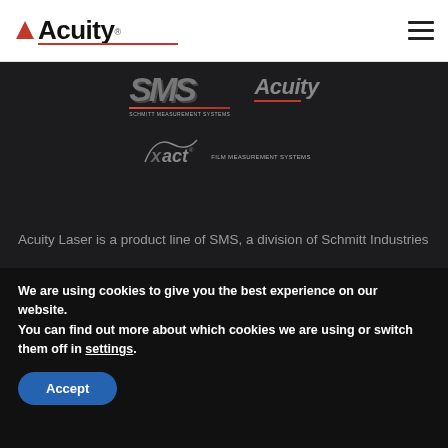Acuity [logo] | hamburger menu
[Figure (logo): SMS Schmitt Measurement Systems logo in dark grey italic letters with red underline]
[Figure (logo): Acuity logo in grey italic text with red underline on dark background]
[Figure (logo): Xact logo with curved arc graphic on dark background]
Acuity Laser is a product line of SMS, a division of Schmitt Industries
©2022 Schmitt Industries Inc
Terms Of Use | Privacy Policy | Sitemap
We are using cookies to give you the best experience on our website.
You can find out more about which cookies we are using or switch them off in settings.
Accept